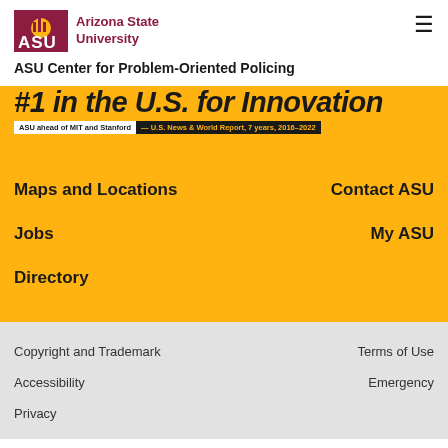ASU — Arizona State University | ASU Center for Problem-Oriented Policing
[Figure (infographic): ASU innovation banner with italic text partially visible at top of yellow section, with tagline: ASU ahead of MIT and Stanford — U.S. News & World Report, 7 years, 2016–2022]
Maps and Locations
Contact ASU
Jobs
My ASU
Directory
Copyright and Trademark
Terms of Use
Accessibility
Emergency
Privacy